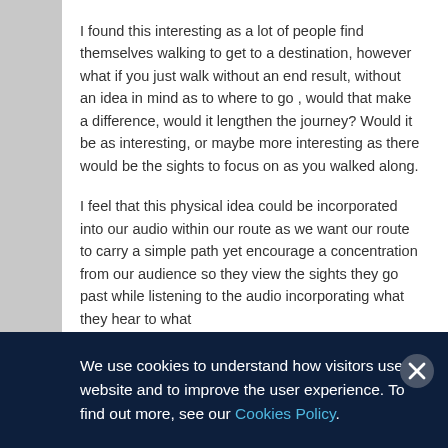I found this interesting as a lot of people find themselves walking to get to a destination, however what if you just walk without an end result, without an idea in mind as to where to go , would that make a difference, would it lengthen the journey? Would it be as interesting, or maybe more interesting as there would be the sights to focus on as you walked along.
I feel that this physical idea could be incorporated into our audio within our route as we want our route to carry a simple path yet encourage a concentration from our audience so they view the sights they go past while listening to the audio incorporating what they hear to what
We use cookies to understand how visitors use our website and to improve the user experience. To find out more, see our Cookies Policy.